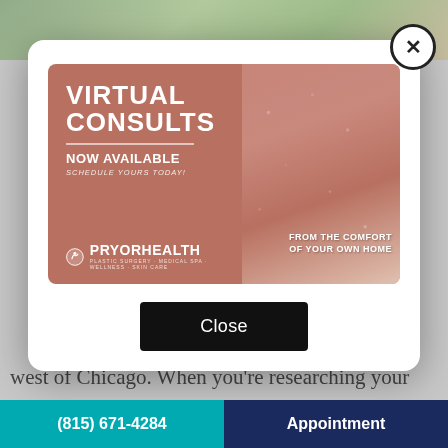[Figure (screenshot): Modal popup advertisement for Pryor Health virtual consults. Left side has mauve/rose background with text 'VIRTUAL CONSULTS NOW AVAILABLE SCHEDULE YOURS TODAY!' and Pryor Health logo. Right side shows a woman in a sparkly rose outfit seated. Text overlay reads 'FROM THE COMFORT OF YOUR OWN HOME'. A close X button appears top-right of modal. A black 'Close' button appears below the ad.]
west of Chicago. When you're researching your options regarding plastic surgeons in the area,
(815) 671-4284 | Appointment